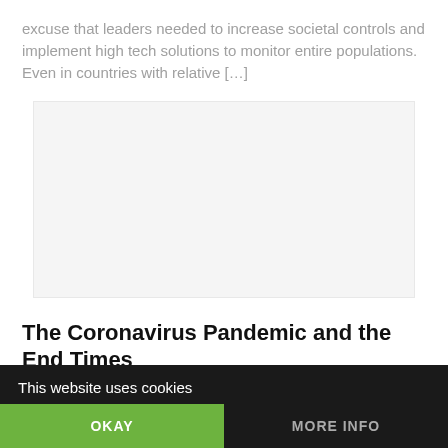excuse that leaders needed to increase societal controls and implement high tech solutions to monitor entire populations. Even in countries with relative […]
[Figure (other): Advertisement or blank placeholder block in the middle of the page]
The Coronavirus Pandemic and the End Times
The novel coronavirus COVID-19 [also called Severe Acute Respiratory Syndrome Coronavirus 2 (or SARS-CoV-2)] is continuing to spread around the globe from its origin in the Wuhan region in China. It is now threatening the health and the economy of all countries, as promise to tests the COVID-19 vaccine to 2 billion. Thousands of people have […]
This website uses cookies
OKAY
MORE INFO